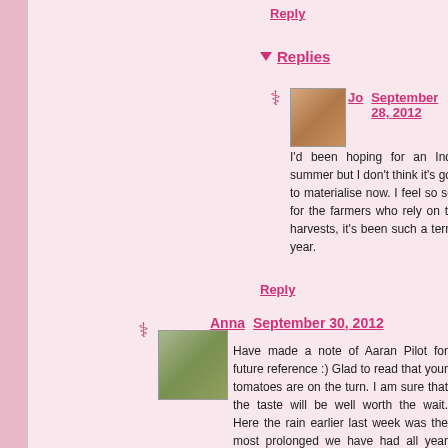Reply
▼ Replies
Jo   September 28, 2012
I'd been hoping for an Indian summer but I don't think it's going to materialise now. I feel so sorry for the farmers who rely on their harvests, it's been such a terrible year.
Reply
Anna  September 30, 2012
Have made a note of Aaran Pilot for future reference :) Glad to read that your tomatoes are on the turn. I am sure that the taste will be well worth the wait. Here the rain earlier last week was the most prolonged we have had all year and there was some flooding locally :( It is pouring down again now. Who knows what the rest of the year has in store?
Reply
▼ Replies
Jo   October 01, 2012
I'm really enjoying the tomatoes now that...